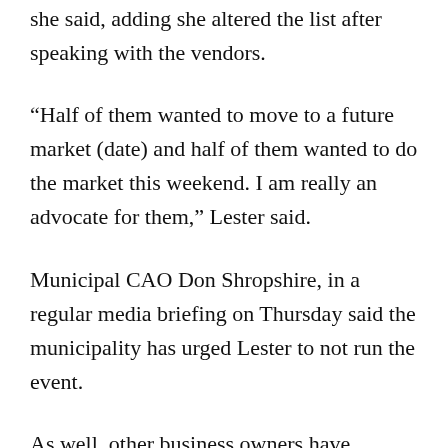she said, adding she altered the list after speaking with the vendors.
“Half of them wanted to move to a future market (date) and half of them wanted to do the market this weekend. I am really an advocate for them,” Lester said.
Municipal CAO Don Shropshire, in a regular media briefing on Thursday said the municipality has urged Lester to not run the event.
As well, other business owners have commented to the media and councillors that the event should not be allowed under current provincial guidelines while they are forced to remain closed except for